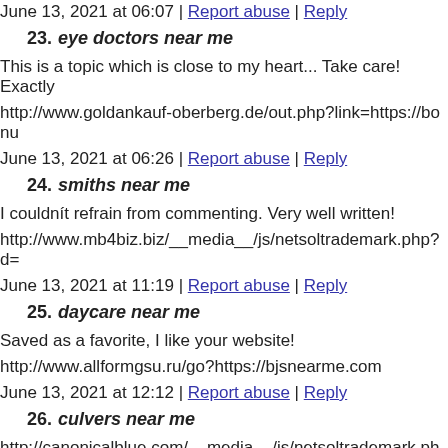June 13, 2021 at 06:07 | Report abuse | Reply
23. eye doctors near me
This is a topic which is close to my heart... Take care! Exactly
http://www.goldankauf-oberberg.de/out.php?link=https://bonu
June 13, 2021 at 06:26 | Report abuse | Reply
24. smiths near me
I couldnít refrain from commenting. Very well written!
http://www.mb4biz.biz/__media__/js/netsoltrademark.php?d=
June 13, 2021 at 11:19 | Report abuse | Reply
25. daycare near me
Saved as a favorite, I like your website!
http://www.allformgsu.ru/go?https://bjsnearme.com
June 13, 2021 at 12:12 | Report abuse | Reply
26. culvers near me
http://canonicalblue.com/__media__/js/netsoltrademark.php?d